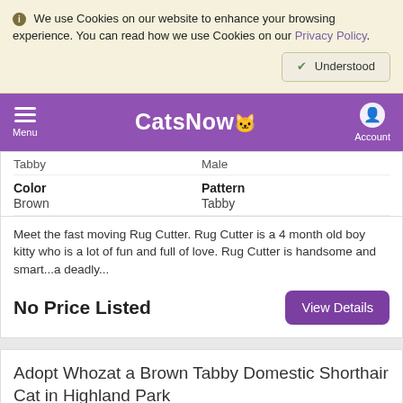We use Cookies on our website to enhance your browsing experience. You can read how we use Cookies on our Privacy Policy.
Understood
CatsNow — Menu | Account
Tabby  Male
Color: Brown   Pattern: Tabby
Meet the fast moving Rug Cutter. Rug Cutter is a 4 month old boy kitty who is a lot of fun and full of love. Rug Cutter is handsome and smart...a deadly...
No Price Listed
View Details
Adopt Whozat a Brown Tabby Domestic Shorthair Cat in Highland Park
[Figure (photo): Partial photo of a cat (Whozat), gray-toned image, cropped at bottom of page]